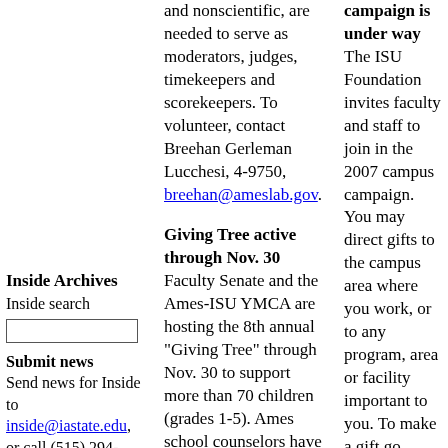and nonscientific, are needed to serve as moderators, judges, timekeepers and scorekeepers. To volunteer, contact Breehan Gerleman Lucchesi, 4-9750, breehan@ameslab.gov.
Giving Tree active through Nov. 30
Faculty Senate and the Ames-ISU YMCA are hosting the 8th annual "Giving Tree" through Nov. 30 to support more than 70 children (grades 1-5). Ames school counselors have identified children from families in transition. The children's "wishes" are hung on the Giving Tree in the Food...
campaign is under way
The ISU Foundation invites faculty and staff to join in the 2007 campus campaign. You may direct gifts to the campus area where you work, or to any program, area or facility important to you. To make a gift go
Inside Archives
Inside search
Submit news
Send news for Inside to inside@iastate.edu, or call (515) 294-7065. See publication dates, deadlines.
About Inside
Inside Iowa State, a newspaper for faculty and staff, is published by the Office of University Relations.